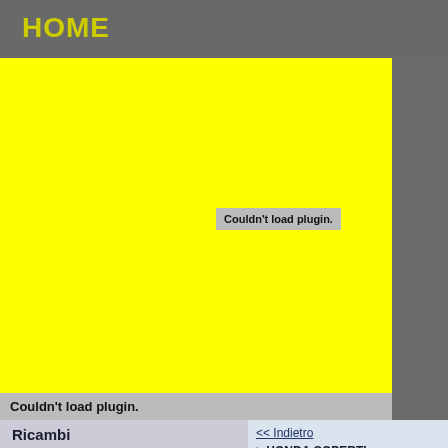HOME
[Figure (other): Yellow advertisement block with 'Couldn't load plugin.' error message]
[Figure (other): Grey area with 'Couldn't load plugin.' error message]
Ricambi NUOVI
ABBIGLIAMENTO (37)
AERMACCHI (1)
AKRONT (2)
ALTH (1)
ANSWER STICKERS (3)
APRILIA (7)
ARIETE (1)
ASPES (6)
<< Indietro
> HONDA COPERTI...
Prezzo: 85,00 €
Marca: TECNOSEL S...
Modello: CR 125/250 (...
[Figure (photo): Product photo (light beige/cream colored motorcycle part)]